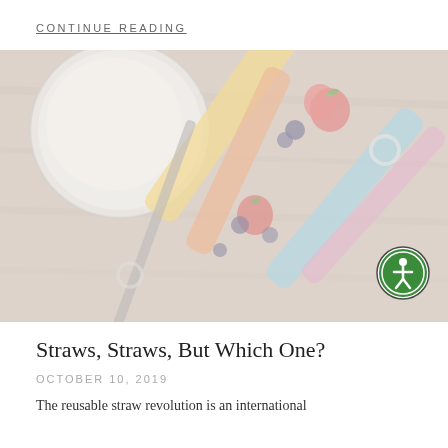CONTINUE READING
[Figure (photo): Overhead flat-lay photo of various reusable straws (metal, silicone, glass in yellow, orange, blue, pink colors), strawberries, blueberries, and a smoothie glass on a wooden surface. Image is faded/washed out with a pale overlay.]
Straws, Straws, But Which One?
OCTOBER 10, 2019
The reusable straw revolution is an international